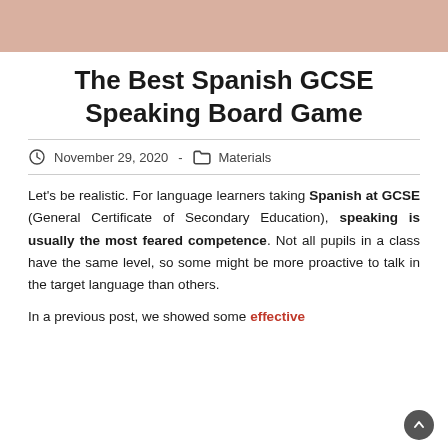[Figure (photo): Top portion of a decorative image with pinkish/peach background color, partially cropped]
The Best Spanish GCSE Speaking Board Game
November 29, 2020  -  Materials
Let's be realistic. For language learners taking Spanish at GCSE (General Certificate of Secondary Education), speaking is usually the most feared competence. Not all pupils in a class have the same level, so some might be more proactive to talk in the target language than others.
In a previous post, we showed some effective